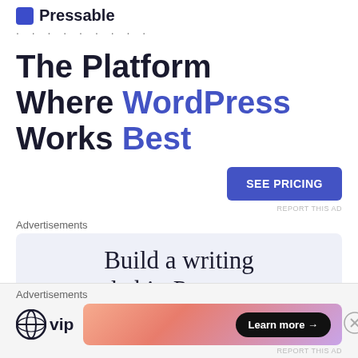Pressable
..........
The Platform Where WordPress Works Best
SEE PRICING
REPORT THIS AD
Advertisements
[Figure (infographic): Advertisement box with text: Build a writing habit. Post on]
Advertisements
[Figure (logo): WordPress VIP logo and Learn more button with gradient background advertisement]